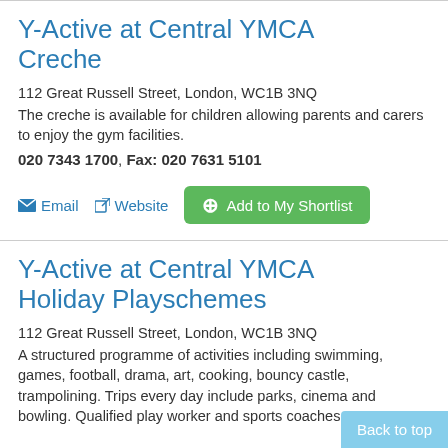Y-Active at Central YMCA Creche
112 Great Russell Street, London, WC1B 3NQ
The creche is available for children allowing parents and carers to enjoy the gym facilities.
020 7343 1700, Fax: 020 7631 5101
Email | Website | Add to My Shortlist
Y-Active at Central YMCA Holiday Playschemes
112 Great Russell Street, London, WC1B 3NQ
A structured programme of activities including swimming, games, football, drama, art, cooking, bouncy castle, trampolining. Trips every day include parks, cinema and bowling. Qualified play worker and sports coaches.